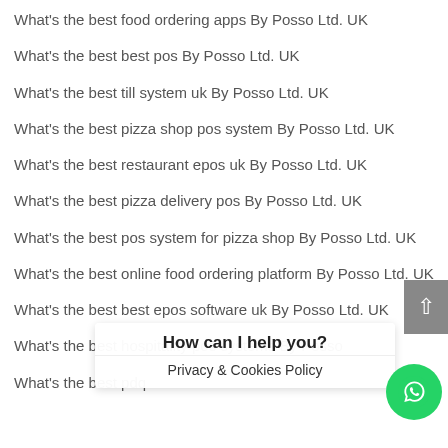What's the best food ordering apps By Posso Ltd. UK
What's the best best pos By Posso Ltd. UK
What's the best till system uk By Posso Ltd. UK
What's the best pizza shop pos system By Posso Ltd. UK
What's the best restaurant epos uk By Posso Ltd. UK
What's the best pizza delivery pos By Posso Ltd. UK
What's the best pos system for pizza shop By Posso Ltd. UK
What's the best online food ordering platform By Posso Ltd. UK
What's the best best epos software uk By Posso Ltd. UK
What's the best hospitality pos systems By Posso Ltd. UK
What's the best pdq ... By Posso Ltd. UK